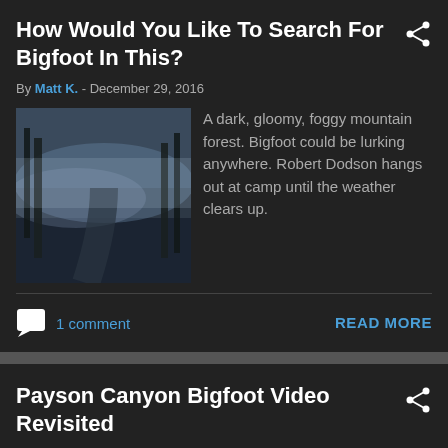How Would You Like To Search For Bigfoot In This?
By Matt K. - December 29, 2016
[Figure (photo): Dark, gloomy, foggy mountain forest path thumbnail image]
A dark, gloomy, foggy mountain forest. Bigfoot could be lurking anywhere. Robert Dodson hangs out at camp until the weather clears up.
1 comment
READ MORE
Payson Canyon Bigfoot Video Revisited
By Matt K. - December 29, 2016
[Figure (screenshot): Thumbnail with text: Location: Payson Canyon]
NvTv reported this video from Payson